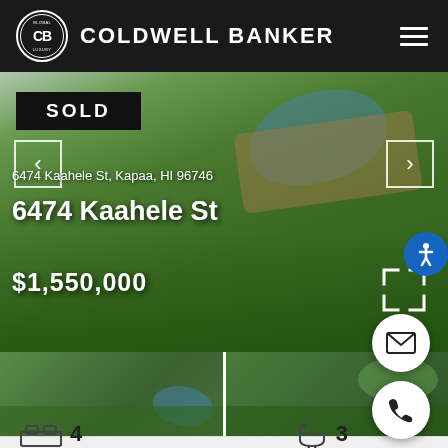COLDWELL BANKER Global Luxury
[Figure (photo): Exterior photo of property at 6474 Kaahele St showing pool, patio, and green lawn with tropical landscaping]
SOLD
6474 Kaahele St, Kapaa, HI 96746
6474 Kaahele St
$1,550,000
[Figure (photo): Thumbnail photo 1: pool and patio area]
[Figure (photo): Thumbnail photo 2: lawn and outdoor area]
4
3